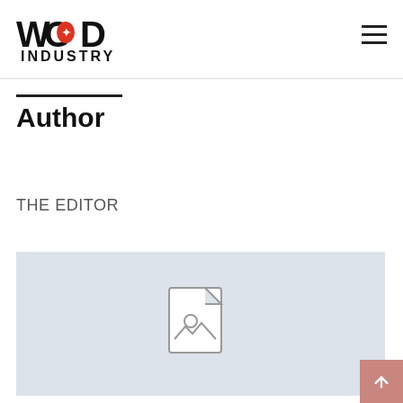[Figure (logo): Wood Industry magazine logo with maple leaf in the letter O]
Author
THE EDITOR
[Figure (illustration): Gray placeholder image box with a document/photo icon in the center]